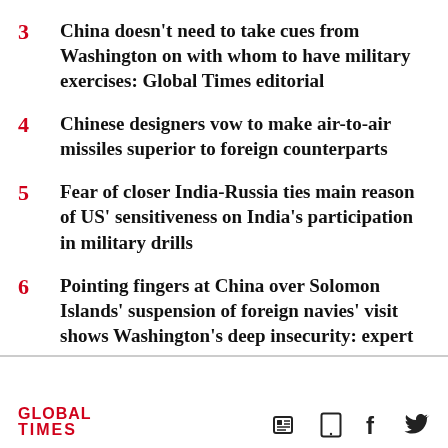3  China doesn't need to take cues from Washington on with whom to have military exercises: Global Times editorial
4  Chinese designers vow to make air-to-air missiles superior to foreign counterparts
5  Fear of closer India-Russia ties main reason of US' sensitiveness on India's participation in military drills
6  Pointing fingers at China over Solomon Islands' suspension of foreign navies' visit shows Washington's deep insecurity: expert
GLOBAL TIMES